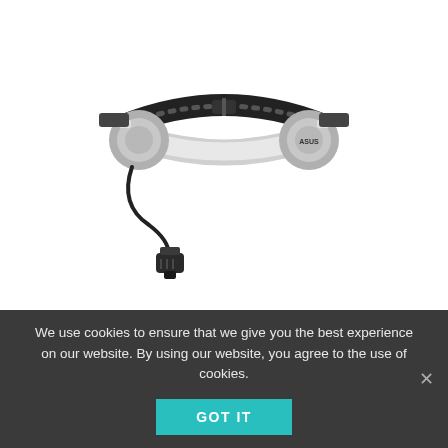[Figure (photo): Product photo of an ASUS EEG headband/headset device. It has a black elastic strap, two circular grey electrode pads on the sides, a white curved front bridge piece with 'ASUS' text on the right pad, and a black cable hanging down from the left side leading to a black connector plug.]
What's Included
We use cookies to ensure that we give you the best experience on our website. By using our website, you agree to the use of cookies.